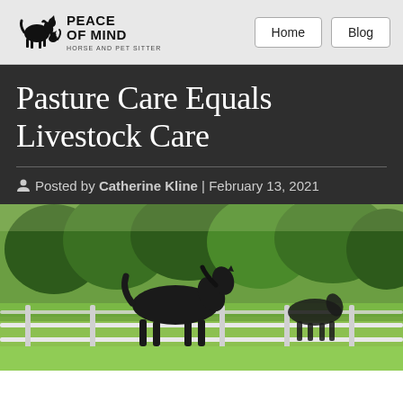Peace of Mind Horse and Pet Sitter — Home | Blog
Pasture Care Equals Livestock Care
Posted by Catherine Kline | February 13, 2021
[Figure (photo): A dark horse grazing in a bright green pasture with a white fence, surrounded by lush trees in the background.]